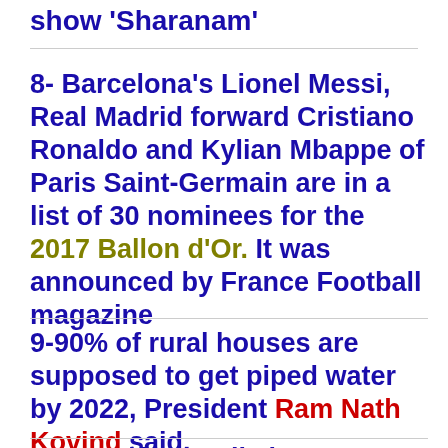show 'Sharanam'
8- Barcelona's Lionel Messi, Real Madrid forward Cristiano Ronaldo and Kylian Mbappe of Paris Saint-Germain are in a list of 30 nominees for the 2017 Ballon d'Or. It was announced by France Football magazine
9-90% of rural houses are supposed to get piped water by 2022, President Ram Nath Kovind said.
10-Google Doodle has honoured